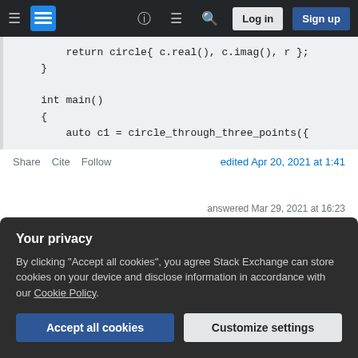Stack Exchange navigation bar with hamburger menu, logo, help, comments, search icons, Log in and Sign up buttons
[Figure (screenshot): Code snippet showing C++ code: return circle{ c.real(), c.imag(), r }; } int main() { auto c1 = circle_through_three_points({]
Share  Cite  Follow    edited Apr 20, 2021 at 1:41
answered Mar 29, 2021 at 16:23  jwezorek
Your privacy
By clicking "Accept all cookies", you agree Stack Exchange can store cookies on your device and disclose information in accordance with our Cookie Policy.
Accept all cookies   Customize settings